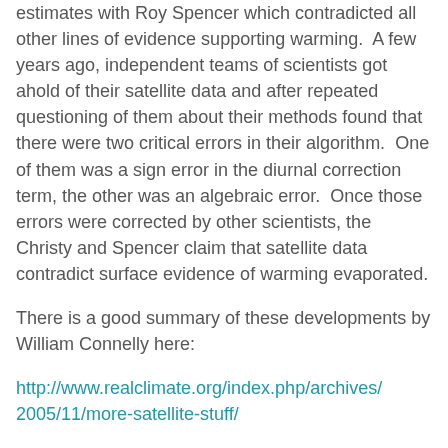estimates with Roy Spencer which contradicted all other lines of evidence supporting warming.  A few years ago, independent teams of scientists got ahold of their satellite data and after repeated questioning of them about their methods found that there were two critical errors in their algorithm.  One of them was a sign error in the diurnal correction term, the other was an algebraic error.  Once those errors were corrected by other scientists, the Christy and Spencer claim that satellite data contradict surface evidence of warming evaporated.
There is a good summary of these developments by William Connelly here:
http://www.realclimate.org/index.php/archives/2005/11/more-satellite-stuff/
By contrast with the key conclusion of Christy and Spencer's original work (that the atmosphere was not warming), which has now been overturned by all independent assessments, the